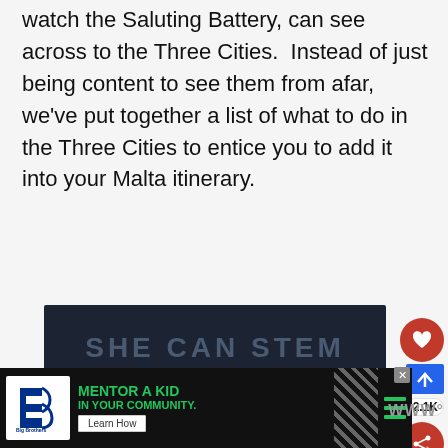watch the Saluting Battery, can see across to the Three Cities.  Instead of just being content to see them from afar, we've put together a list of what to do in the Three Cities to entice you to add it into your Malta itinerary.
[Figure (screenshot): Dark banner advertisement reading SHE CAN STEM in bold gray text on a dark navy/black textured background]
[Figure (infographic): Social interaction UI: red heart button, share count 2.1K, red share button; and a What's Next card showing Hilton Malta – A great 5 sta...]
[Figure (screenshot): Bottom advertisement: Big Brothers Big Sisters logo, green text MENTOR A KID IN YOUR COMMUNITY., Learn How button, diagonal stripe pattern, green bars, close button, wordmark WWW]